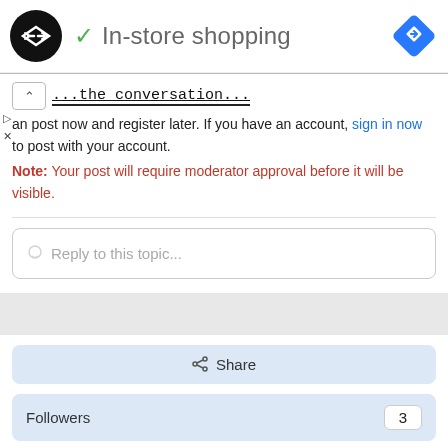[Figure (logo): Black circle logo with double arrow/infinity icon, green checkmark, title 'In-store shopping', blue diamond navigation icon]
✓ In-store shopping
...the conversation...
an post now and register later. If you have an account, sign in now to post with your account.
Note: Your post will require moderator approval before it will be visible.
Reply to this topic...
Share
Followers 3